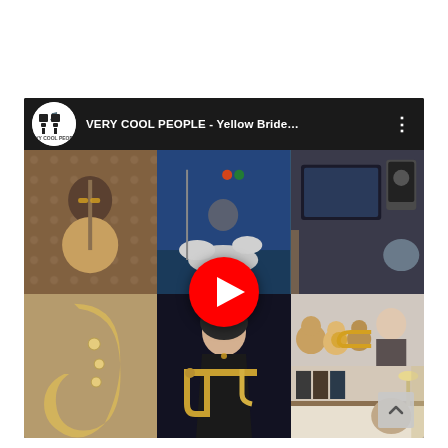[Figure (screenshot): YouTube video embed showing 'VERY COOL PEOPLE - Yellow Bride...' with a grid of 6 musician thumbnails (banjo player, drummer, home studio, saxophone players, woman with trombone, trumpet player with teddy bears) and a red play button overlay in the center.]